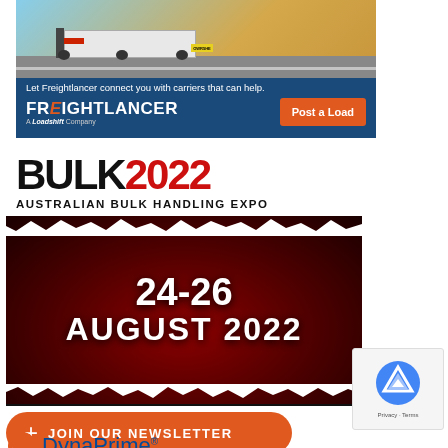[Figure (illustration): Freightlancer advertisement banner with truck on highway photo, blue background, 'Let Freightlancer connect you with carriers that can help.' text, Freightlancer logo, 'A Loadshift Company' subtitle, and orange 'Post a Load' button]
[Figure (illustration): BULK 2022 Australian Bulk Handling Expo advertisement. White and red text on black background with torn paper effect. Shows '24-26 AUGUST 2022' event dates.]
[Figure (illustration): Orange rounded button with '+' icon and text 'JOIN OUR NEWSLETTER']
[Figure (logo): DynaPrime logo with orange circular arc icon and blue 'DynaPrime®' text]
[Figure (illustration): reCAPTCHA widget showing Google reCAPTCHA logo with 'Privacy - Terms' text]